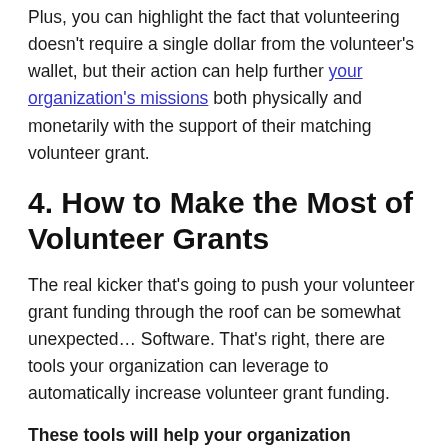Plus, you can highlight the fact that volunteering doesn't require a single dollar from the volunteer's wallet, but their action can help further your organization's missions both physically and monetarily with the support of their matching volunteer grant.
4. How to Make the Most of Volunteer Grants
The real kicker that's going to push your volunteer grant funding through the roof can be somewhat unexpected… Software. That's right, there are tools your organization can leverage to automatically increase volunteer grant funding.
These tools will help your organization recognize eligible volunteers, fully-automate communication with those volunteers, and track the status of all grant-eligible volunteer hours.